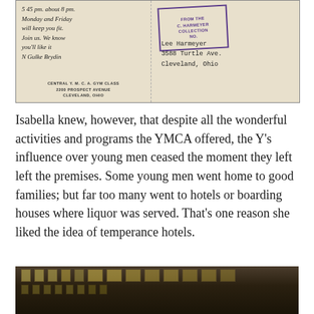[Figure (photo): Back of a YMCA postcard showing handwritten message on left half and address block with purple collection stamp on right half. Left side has cursive handwriting reading '5 45 pm. about 8 pm. Monday and Friday will keep you fit. Join us. We know you'll like it. N Gulke Brydin' with printed text 'CENTRAL Y.M.C.A. GYM CLASS 2200 PROSPECT AVENUE CLEVELAND, OHIO'. Right side shows a purple rectangular stamp reading 'FROM THE C. HARMEYER COLLECTION NO.' and typed address 'Lee Harmeyer, 3588 Turtle Ave., Cleveland, Ohio'.]
Isabella knew, however, that despite all the wonderful activities and programs the YMCA offered, the Y's influence over young men ceased the moment they left left the premises. Some young men went home to good families; but far too many went to hotels or boarding houses where liquor was served. That's one reason she liked the idea of temperance hotels.
[Figure (photo): Sepia-toned historical photograph of a large brick building exterior, showing multiple rows of windows along the facade. The image is dark and appears to be an older architectural photograph.]